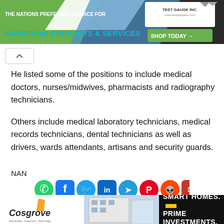[Figure (screenshot): Top advertisement banner for backflow products and services from Test Gauge Inc.]
He listed some of the positions to include medical doctors, nurses/midwives, pharmacists and radiography technicians.
Others include medical laboratory technicians, medical records technicians, dental technicians as well as drivers, wards attendants, artisans and security guards.
NAN
[Figure (infographic): Row of social media sharing icons: WhatsApp, Facebook, Twitter, LinkedIn, Telegram, Pinterest, Reddit, Email]
[Figure (screenshot): Bottom advertisement banner for Cosgrove Real Estate: Smart Homes. Prime Investments.]